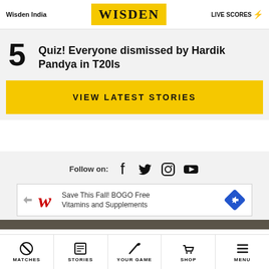Wisden India | WISDEN | LIVE SCORES
5  Quiz! Everyone dismissed by Hardik Pandya in T20Is
VIEW LATEST STORIES
Follow on:
[Figure (screenshot): Ad banner: Save This Fall! BOGO Free Vitamins and Supplements]
MATCHES | STORIES | YOUR GAME | SHOP | MENU